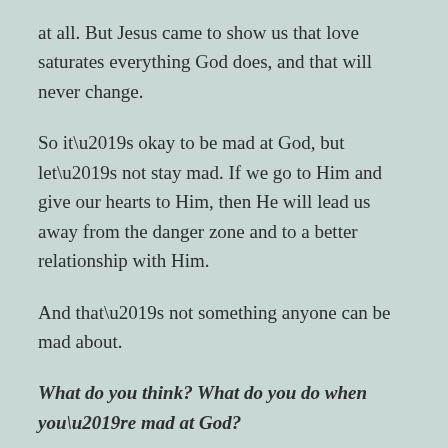at all. But Jesus came to show us that love saturates everything God does, and that will never change.
So it’s okay to be mad at God, but let’s not stay mad. If we go to Him and give our hearts to Him, then He will lead us away from the danger zone and to a better relationship with Him.
And that’s not something anyone can be mad about.
What do you think? What do you do when you’re mad at God?